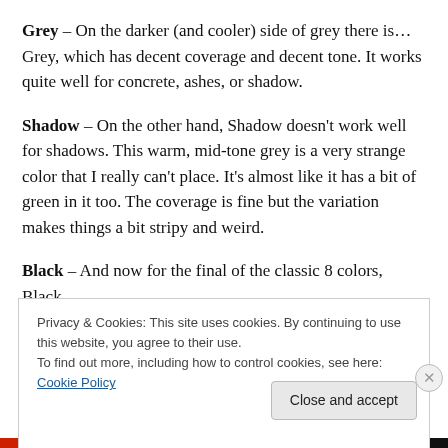Grey – On the darker (and cooler) side of grey there is... Grey, which has decent coverage and decent tone. It works quite well for concrete, ashes, or shadow.
Shadow – On the other hand, Shadow doesn't work well for shadows. This warm, mid-tone grey is a very strange color that I really can't place. It's almost like it has a bit of green in it too. The coverage is fine but the variation makes things a bit stripy and weird.
Black – And now for the final of the classic 8 colors, Black
Privacy & Cookies: This site uses cookies. By continuing to use this website, you agree to their use.
To find out more, including how to control cookies, see here: Cookie Policy